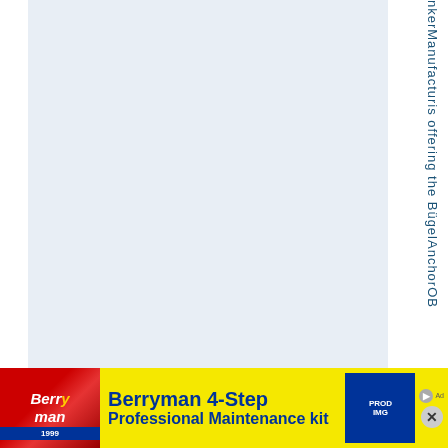nkerManufacturis offering the BügelAnchorOB
[Figure (infographic): Advertisement banner for Berryman 4-Step Professional Maintenance kit on yellow background with red logo area and blue product image on the right]